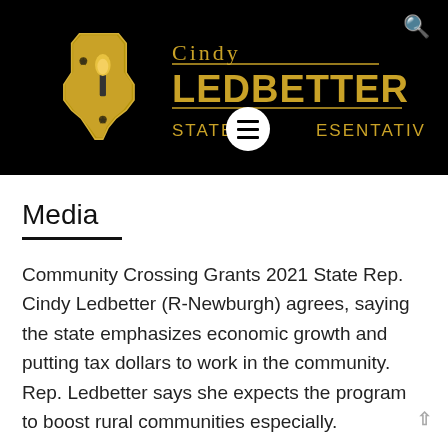[Figure (logo): Cindy Ledbetter State Representative logo on black background with Indiana state shape in gold and torch icon, with search icon in top right corner and hamburger menu button overlay]
Media
Community Crossing Grants 2021 State Rep. Cindy Ledbetter (R-Newburgh) agrees, saying the state emphasizes economic growth and putting tax dollars to work in the community. Rep. Ledbetter says she expects the program to boost rural communities especially.